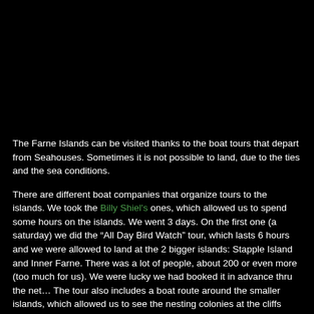[Figure (photo): Dark/black image area at the top of the page, showing a mostly black photograph of the Farne Islands area.]
The Farne Islands can be visited thanks to the boat tours that depart from Seahouses. Sometimes it is not possible to land, due to the ties and the sea conditions.
There are different boat companies that organize tours to the islands. We took the Billy Shiel's ones, which allowed us to spend some hours on the islands. We went 3 days. On the first one (a saturday) we did the “All Day Bird Watch” tour, which lasts 6 hours and we were allowed to land at the 2 bigger islands: Stapple Island and Inner Farne. There was a lot of people, about 200 or even more (too much for us). We were lucky we had booked it in advance thru the net… The tour also includes a boat route around the smaller islands, which allowed us to see the nesting colonies at the cliffs from the water and approach to the grey seal (halichoerus grupus) groups which rest on the rocks at the smaller islands.